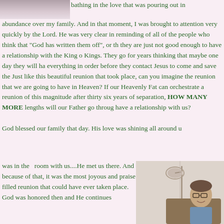[Figure (photo): Partial photo at top left, appears to show a person in white clothing]
bathing in the love that was pouring out in abundance over my family.  And in that moment, I was brought to attention very quickly by the Lord.  He was very clear in reminding of all of the people who think that "God has written them off", or th they are just not good enough to have a relationship with the King o Kings.  They go for years thinking that maybe one day they will ha everything in order before they contact Jesus to come and save the Just like this beautiful reunion that took place, can you imagine the reunion that we are going to have in Heaven?  If our Heavenly Fat can orchestrate a reunion of this magnitude after thirty six years of separation, HOW MANY MORE lengths will our Father go throug have a relationship with us?
God blessed our family that day.  His love was shining all around u was in the  room with us....He met us there.  And because of that, it was the most joyous and praise filled reunion that could have ever taken place.  God was honored then and He continues
[Figure (photo): Photo of a man with glasses sitting in a chair, smiling, with a lamp visible in the background]